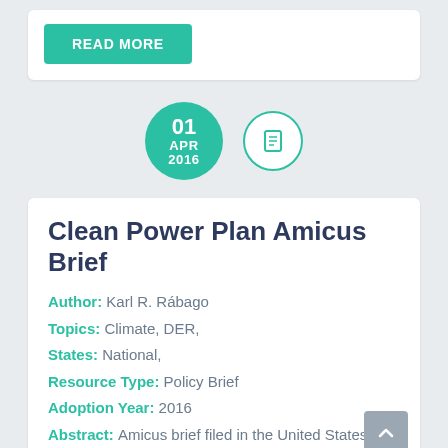READ MORE
[Figure (other): Date circle showing 01 APR 2016 in teal, and a document icon circle outline in teal]
Clean Power Plan Amicus Brief
Author: Karl R. Rábago
Topics: Climate, DER,
States: National,
Resource Type: Policy Brief
Adoption Year: 2016
Abstract: Amicus brief filed in the United States